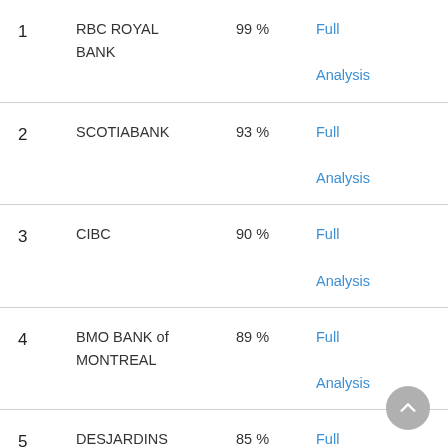| Rank | Bank | Score | Link |
| --- | --- | --- | --- |
| 1 | RBC ROYAL BANK | 99 % | Full Analysis |
| 2 | SCOTIABANK | 93 % | Full Analysis |
| 3 | CIBC | 90 % | Full Analysis |
| 4 | BMO BANK of MONTREAL | 89 % | Full Analysis |
| 5 | DESJARDINS (Quebec-based CO-OPERATIVE) | 85 % | Full Analysis |